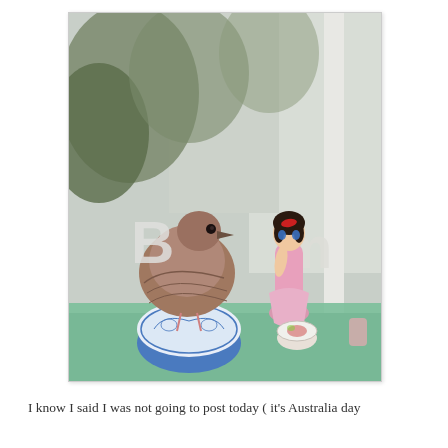[Figure (photo): A brown dove or pigeon perched on top of a blue and white heart-shaped porcelain trinket box on a mint green shelf. Behind the bird is a pink ceramic doll figurine with dark hair and a bow. White letter decorations (R and M) are visible in the background against a window showing trees outside. A small floral Royal Albert-style trinket box lid is also visible on the shelf.]
I know I said I was not going to post today ( it's Australia day